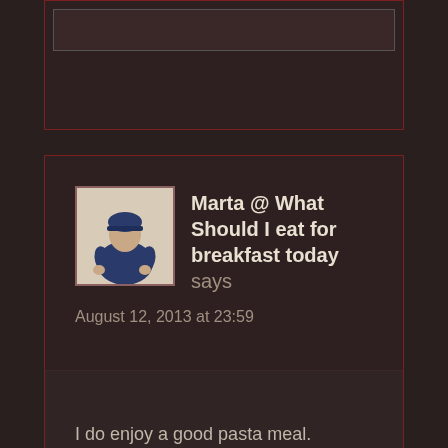[Figure (screenshot): Partial top comment box with inner input field, dark brown background with red border]
Marta @ What Should I eat for breakfast today says
August 12, 2013 at 23:59
I do enjoy a good pasta meal.
Reply